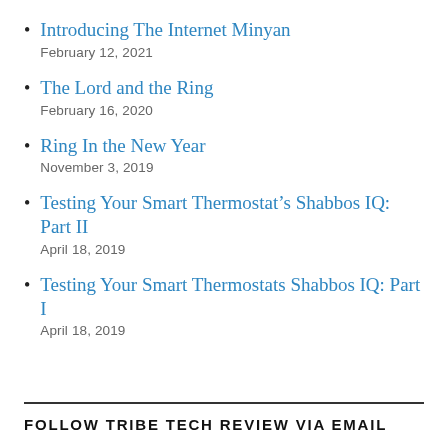Introducing The Internet Minyan
February 12, 2021
The Lord and the Ring
February 16, 2020
Ring In the New Year
November 3, 2019
Testing Your Smart Thermostat’s Shabbos IQ: Part II
April 18, 2019
Testing Your Smart Thermostats Shabbos IQ: Part I
April 18, 2019
FOLLOW TRIBE TECH REVIEW VIA EMAIL